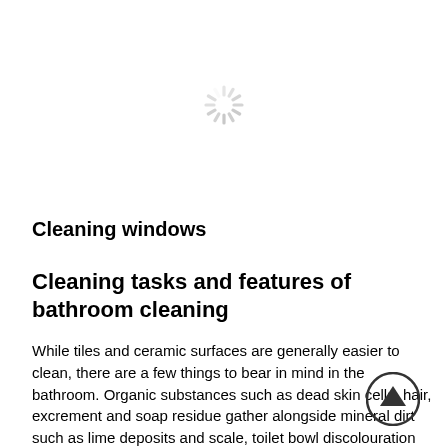[Figure (other): Loading spinner icon (rotating dashes arranged in a circle)]
Cleaning windows
Cleaning tasks and features of bathroom cleaning
While tiles and ceramic surfaces are generally easier to clean, there are a few things to bear in mind in the bathroom. Organic substances such as dead skin cells, hair, excrement and soap residue gather alongside mineral dirt such as lime deposits and scale, toilet bowl discolouration and rust. Simply wiping is often not enough to remove this dirt, meaning aggressive detergents are frequently used, such as toilet cleaners or acidic detergents